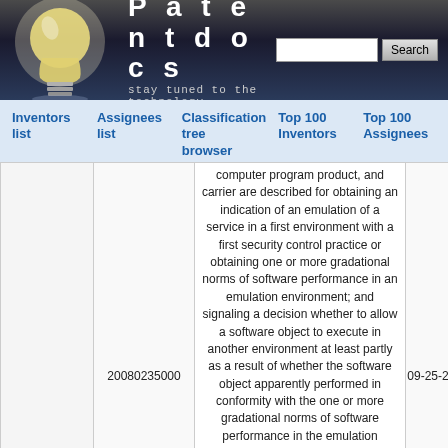Patentdocs — stay tuned to the technology
Inventors list | Assignees list | Classification tree browser | Top 100 Inventors | Top 100 Assignees
|  | 20080235000 | computer program product, and carrier are described for obtaining an indication of an emulation of a service in a first environment with a first security control practice or obtaining one or more gradational norms of software performance in an emulation environment; and signaling a decision whether to allow a software object to execute in another environment at least partly as a result of whether the software object apparently performed in conformity with the one or more gradational norms of software performance in the emulation environment or signaling a decision whether to use a second environment without the first security control practice in performing at least a portion of the service as a result of the indication of the emulation of the service in the first environment with the first | 09-25-2008 |
| --- | --- | --- | --- |